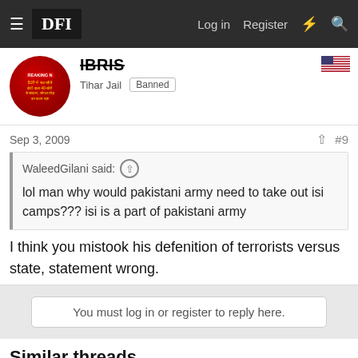DFI — Log in  Register
IBRIS
Tihar Jail  Banned
Sep 3, 2009  #9
WaleedGilani said: ↑
lol man why would pakistani army need to take out isi camps??? isi is a part of pakistani army
I think you mistook his defenition of terrorists versus state, statement wrong.
You must log in or register to reply here.
Similar threads